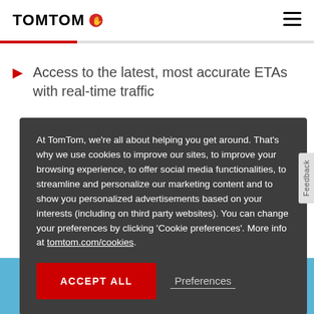TOMTOM
Access to the latest, most accurate ETAs with real-time traffic
At TomTom, we're all about helping you get around. That's why we use cookies to improve our sites, to improve your browsing experience, to offer social media functionalities, to streamline and personalize our marketing content and to show you personalized advertisements based on your interests (including on third party websites). You can change your preferences by clicking 'Cookie preferences'. More info at tomtom.com/cookies.
ACCEPT ALL   Preferences